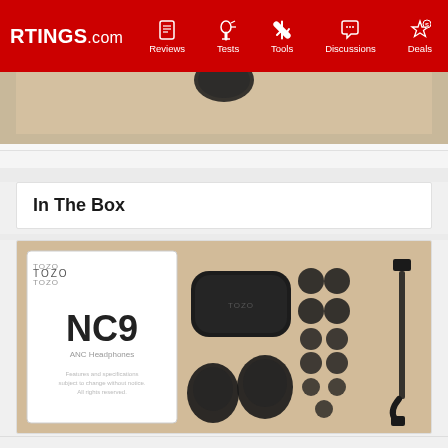RTINGS.com | Reviews | Tests | Tools | Discussions | Deals
[Figure (photo): Partial top image of earbuds or charging case on wooden surface, cropped at top]
[Figure (photo): TOZO NC9 in-the-box photo showing product packaging box, charging case, two earbuds, multiple ear tips in different sizes, and USB charging cable, all laid out on a wooden surface]
In The Box